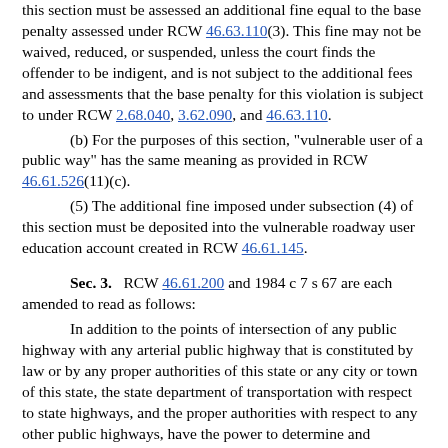this section must be assessed an additional fine equal to the base penalty assessed under RCW 46.63.110(3). This fine may not be waived, reduced, or suspended, unless the court finds the offender to be indigent, and is not subject to the additional fees and assessments that the base penalty for this violation is subject to under RCW 2.68.040, 3.62.090, and 46.63.110.
(b) For the purposes of this section, "vulnerable user of a public way" has the same meaning as provided in RCW 46.61.526(11)(c).
(5) The additional fine imposed under subsection (4) of this section must be deposited into the vulnerable roadway user education account created in RCW 46.61.145.
Sec. 3. RCW 46.61.200 and 1984 c 7 s 67 are each amended to read as follows:
In addition to the points of intersection of any public highway with any arterial public highway that is constituted by law or by any proper authorities of this state or any city or town of this state, the state department of transportation with respect to state highways, and the proper authorities with respect to any other public highways, have the power to determine and designate any particular intersection, or any particular highways, roads, or streets or portions thereof, at any intersection with which vehicles shall be required to stop before entering such intersection. Upon the determination and designation of such points at which vehicles will